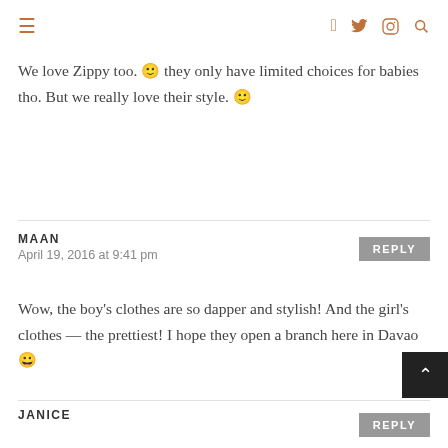≡  f  twitter  instagram  search
We love Zippy too. 🙂 they only have limited choices for babies tho. But we really love their style. 🙂
MAAN
April 19, 2016 at 9:41 pm
REPLY
Wow, the boy's clothes are so dapper and stylish! And the girl's clothes — the prettiest! I hope they open a branch here in Davao 😀
JANICE
REPLY